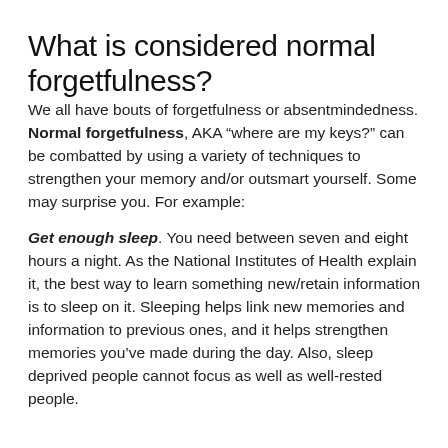What is considered normal forgetfulness?
We all have bouts of forgetfulness or absentmindedness. Normal forgetfulness, AKA “where are my keys?” can be combatted by using a variety of techniques to strengthen your memory and/or outsmart yourself. Some may surprise you. For example:
Get enough sleep. You need between seven and eight hours a night. As the National Institutes of Health explain it, the best way to learn something new/retain information is to sleep on it. Sleeping helps link new memories and information to previous ones, and it helps strengthen memories you’ve made during the day. Also, sleep deprived people cannot focus as well as well-rested people.